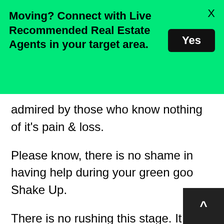[Figure (other): Green banner advertisement: 'Moving? Connect with Live Recommended Real Estate Agents in your target area.' with a black 'Yes' button and an X close button]
admired by those who know nothing of it's pain & loss.
Please know, there is no shame in having help during your green goo Shake Up.
There is no rushing this stage. It often takes far longer than we would like, and if we allow it the time it needs, our brains will force us to take the time.